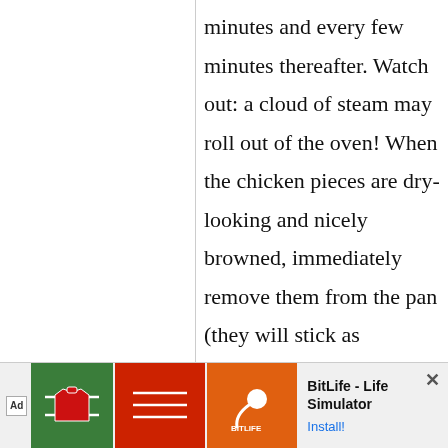minutes and every few minutes thereafter. Watch out: a cloud of steam may roll out of the oven! When the chicken pieces are dry-looking and nicely browned, immediately remove them from the pan (they will stick as
[Figure (other): Advertisement banner at bottom of page. Contains 'Ad' badge, The Whole 9 Yards app icon (green background with football shirt), BitLife app icon (red and orange backgrounds with sperm icon), and text 'BitLife - Life Simulator' with 'Install!' link. Close button (X) in top right corner.]